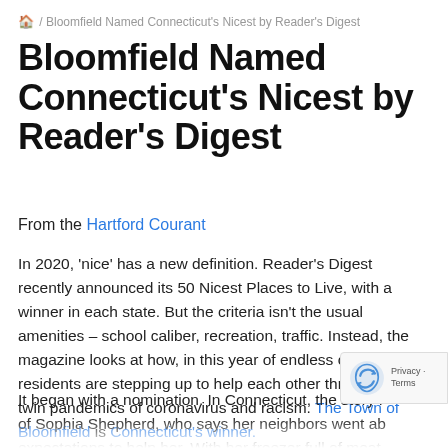🏠 / Bloomfield Named Connecticut's Nicest by Reader's Digest
Bloomfield Named Connecticut's Nicest by Reader's Digest
From the Hartford Courant
In 2020, 'nice' has a new definition. Reader's Digest recently announced its 50 Nicest Places to Live, with a winner in each state. But the criteria isn't the usual amenities – school caliber, recreation, traffic. Instead, the magazine looks at how, in this year of endless challenges, residents are stepping up to help each other through the twin pandemics of coronavirus and racism. The Town of Bloomfield is Connecticut's winner.
It began with a nomination. In Connecticut, the story is of Sophia Shepherd, who says her neighbors went above expectations to help her. With her freezer full of meat during